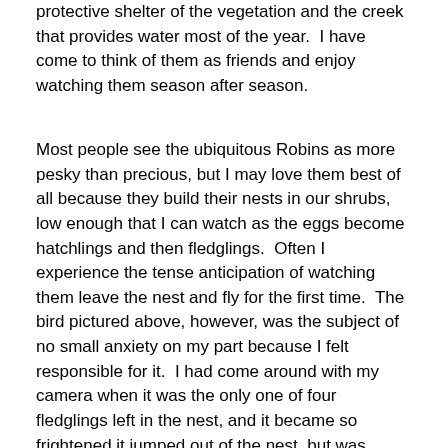protective shelter of the vegetation and the creek that provides water most of the year.  I have come to think of them as friends and enjoy watching them season after season.
Most people see the ubiquitous Robins as more pesky than precious, but I may love them best of all because they build their nests in our shrubs, low enough that I can watch as the eggs become hatchlings and then fledglings.  Often I experience the tense anticipation of watching them leave the nest and fly for the first time.  The bird pictured above, however, was the subject of no small anxiety on my part because I felt responsible for it.  I had come around with my camera when it was the only one of four fledglings left in the nest, and it became so frightened it jumped out of the nest, but was unable to fly, its fluttering wings barely breaking its fall to the grass.